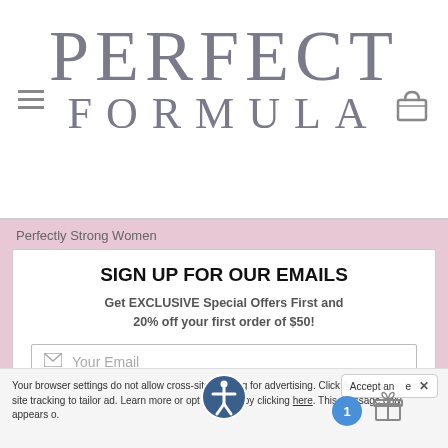[Figure (logo): Perfect Formula brand logo with hamburger menu icon on left and shopping bag icon on right. Large serif text reads PERFECT on top line and FORMULA on second line, both in gray.]
Perfectly Strong Women
SIGN UP FOR OUR EMAILS
Get EXCLUSIVE Special Offers First and 20% off your first order of $50!
Your Email
Subscribe Now
Your browser settings do not allow cross-site tracking for advertising. Click here to allow AdRoll to use cross-site tracking to tailor ads to you. Learn more or opt out of this tracking by clicking here. This message only appears once.